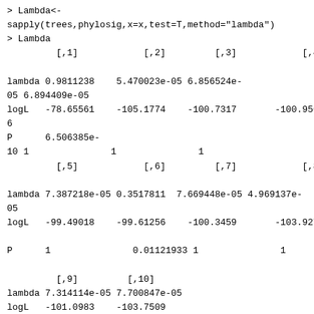> Lambda<-
sapply(trees,phylosig,x=x,test=T,method="lambda")
> Lambda
         [,1]            [,2]         [,3]            [,4]

lambda 0.9811238    5.470023e-05 6.856524e-
05 6.894409e-05
logL   -78.65561    -105.1774    -100.7317       -100.956
6
P      6.506385e-
10 1               1               1
         [,5]            [,6]         [,7]            [,8]

lambda 7.387218e-05 0.3517811  7.669448e-05 4.969137e-
05
logL   -99.49018    -99.61256    -100.3459       -103.9276

P      1               0.01121933 1               1

         [,9]         [,10]
lambda 7.314114e-05 7.700847e-05
logL   -101.0983    -103.7509